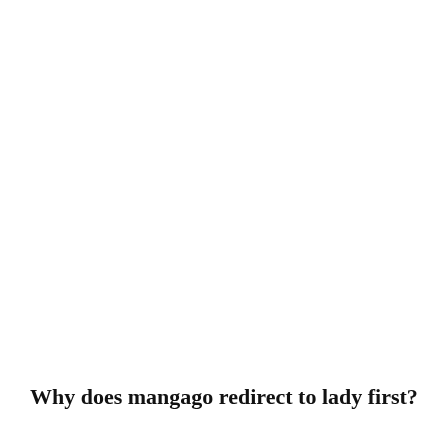Why does mangago redirect to lady first?